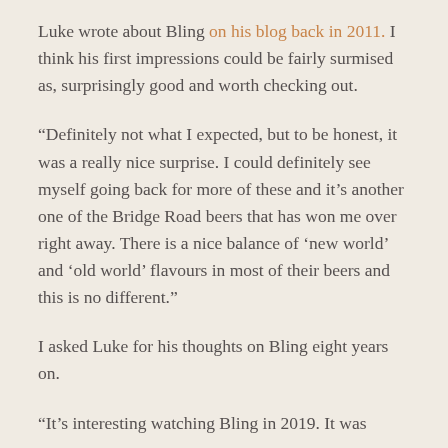Luke wrote about Bling on his blog back in 2011. I think his first impressions could be fairly surmised as, surprisingly good and worth checking out.
“Definitely not what I expected, but to be honest, it was a really nice surprise. I could definitely see myself going back for more of these and it’s another one of the Bridge Road beers that has won me over right away. There is a nice balance of ‘new world’ and ‘old world’ flavours in most of their beers and this is no different.”
I asked Luke for his thoughts on Bling eight years on.
“It’s interesting watching Bling in 2019. It was